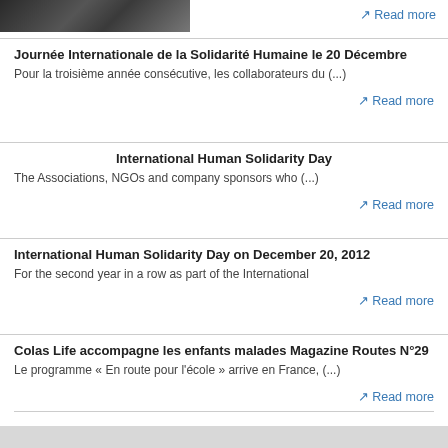[Figure (photo): Group photo of people in dark clothing, outdoors]
Read more
Journée Internationale de la Solidarité Humaine le 20 Décembre
Pour la troisième année consécutive, les collaborateurs du (...)
Read more
International Human Solidarity Day
The Associations, NGOs and company sponsors who (...)
Read more
International Human Solidarity Day on December 20, 2012
For the second year in a row as part of the International
Read more
Colas Life accompagne les enfants malades Magazine Routes N°29
Le programme « En route pour l'école » arrive en France, (...)
Read more